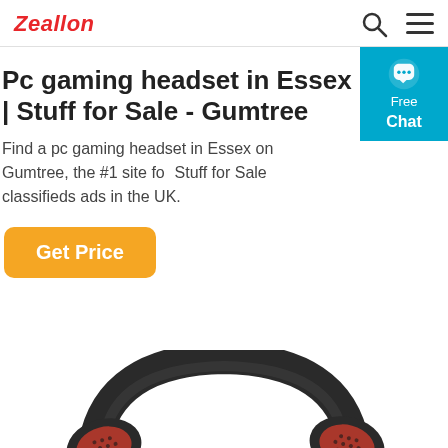Zeallon [search icon] [menu icon]
Pc gaming headset in Essex | Stuff for Sale - Gumtree
Find a pc gaming headset in Essex on Gumtree, the #1 site for Stuff for Sale classifieds ads in the UK.
Get Price
[Figure (photo): A black and red gaming headset photographed from above, showing the headband and ear cup with red mesh/honeycomb pattern visible.]
[Figure (other): A teal/cyan free chat widget button with a speech bubble icon, labeled 'Free Chat']